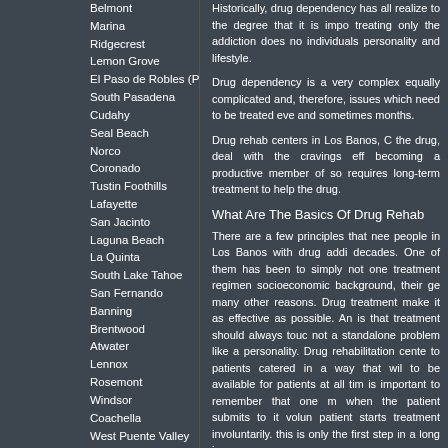Belmont
Marina
Ridgecrest
Lemon Grove
El Paso de Robles (Paso Robles)
South Pasadena
Cudahy
Seal Beach
Norco
Coronado
Tustin Foothills
Lafayette
San Jacinto
Laguna Beach
La Quinta
South Lake Tahoe
San Fernando
Banning
Brentwood
Atwater
Lennox
Rosemont
Windsor
Coachella
West Puente Valley
Brawley
San Lorenzo
Port Hueneme
Valinda
Bay Point
Duarte
Wasco
South El Monte
West Carson
Barstow
Ashland
Reedley
Find More Results
Historically, drug dependency has all realize to the degree that it is impo treating only the addiction does no individuals personality and lifestyle.
Drug dependency is a very complex equally complicated and, therefore, issues which need to be treated eve and sometimes months.
Drug rehab centers in Los Banos, C the drug, deal with the cravings eff becoming a productive member of so requires long-term treatment to help the drug.
What Are The Basics Of Drug Rehab
There are a few principles that nee people in Los Banos with drug addi decades. One of them has been to simply not one treatment regimen socioeconomic background, their ge many other reasons. Drug treatment make it as effective as possible. An is that treatment should always touc not a standalone problem like a personality. Drug rehabilitation cente to patients catered in a way that wil to be available for patients at all tim is important to remember that one m when the patient submits to it volun patient starts treatment involuntarily. this is only the first step in a long jo
What Types of Drug Rehab Are Ther
The most commonly used type of mental health professionals in